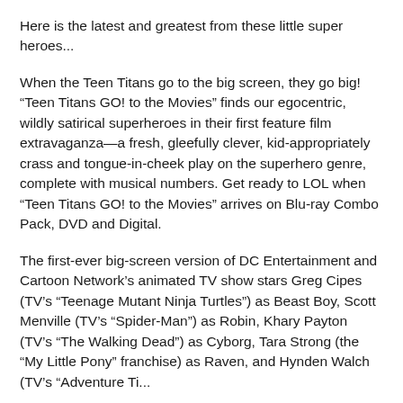Here is the latest and greatest from these little super heroes...
When the Teen Titans go to the big screen, they go big! “Teen Titans GO! to the Movies” finds our egocentric, wildly satirical superheroes in their first feature film extravaganza—a fresh, gleefully clever, kid-appropriately crass and tongue-in-cheek play on the superhero genre, complete with musical numbers. Get ready to LOL when “Teen Titans GO! to the Movies” arrives on Blu-ray Combo Pack, DVD and Digital.
The first-ever big-screen version of DC Entertainment and Cartoon Network’s animated TV show stars Greg Cipes (TV’s “Teenage Mutant Ninja Turtles”) as Beast Boy, Scott Menville (TV’s “Spider-Man”) as Robin, Khary Payton (TV’s “The Walking Dead”) as Cyborg, Tara Strong (the “My Little Pony” franchise) as Raven, and Hynden Walch (TV’s “Adventure Ti...